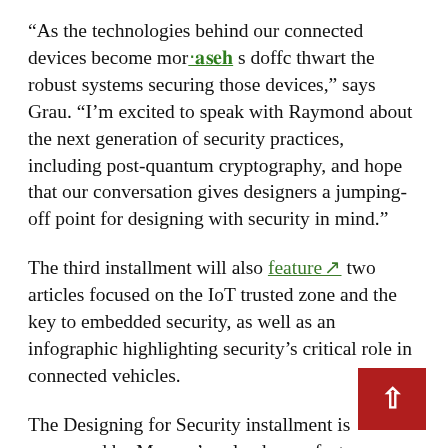“As the technologies behind our connected devices become more advanced, so do efforts to thwart the robust systems securing those devices,” says Grau. “I’m excited to speak with Raymond about the next generation of security practices, including post-quantum cryptography, and hope that our conversation gives designers a jumping-off point for designing with security in mind.”
The third installment will also feature two articles focused on the IoT trusted zone and the key to embedded security, as well as an infographic highlighting security’s critical role in connected vehicles.
The Designing for Security installment is sponsored by Mouser’s valued manufacturer partners Analog Devices, Infineon Technologies,